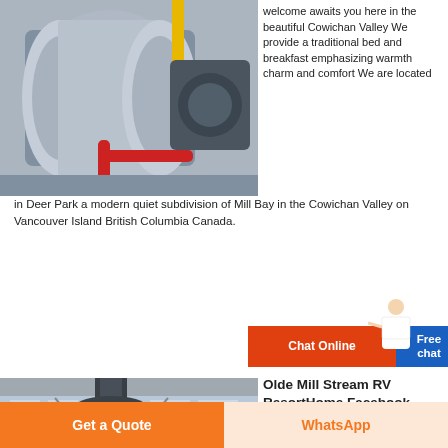[Figure (photo): Industrial machinery with large cylindrical spool, yellow pipe, and red bent pipe in a factory setting]
welcome awaits you here in the beautiful Cowichan Valley We provide a traditional bed and breakfast emphasizing warmth charm and comfort We are located in Deer Park a modern quiet subdivision of Mill Bay in the Cowichan Valley on Vancouver Island British Columbia Canada.
[Figure (photo): A large industrial tower or vertical machinery in a factory with scaffolding, windows, and industrial infrastructure]
Olde Mill Stream RV ResortHome Facebook
Olde Mill Stream RV Resort December 23 2020 at 2 57 PM Taken near the dog park area Sénor Fox December 22 2020 at 6 23 AM Our view